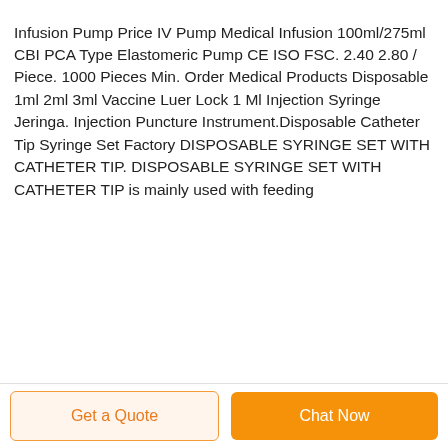Infusion Pump Price IV Pump Medical Infusion 100ml/275ml CBI PCA Type Elastomeric Pump CE ISO FSC. 2.40 2.80 / Piece. 1000 Pieces Min. Order Medical Products Disposable 1ml 2ml 3ml Vaccine Luer Lock 1 Ml Injection Syringe Jeringa. Injection Puncture Instrument.Disposable Catheter Tip Syringe Set Factory DISPOSABLE SYRINGE SET WITH CATHETER TIP. DISPOSABLE SYRINGE SET WITH CATHETER TIP is mainly used with feeding
Get a Quote   Chat Now